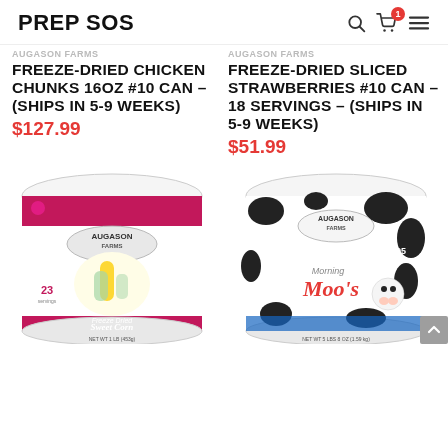PREP SOS
AUGASON FARMS FREEZE-DRIED CHICKEN CHUNKS 16OZ #10 CAN – (SHIPS IN 5-9 WEEKS)
$127.99
AUGASON FARMS FREEZE-DRIED SLICED STRAWBERRIES #10 CAN – 18 SERVINGS – (SHIPS IN 5-9 WEEKS)
$51.99
[Figure (photo): Augason Farms Freeze Dried Sweet Corn can with corn imagery, 23 servings, NET WT 1 LB (453g)]
[Figure (photo): Augason Farms Morning Moo's non-fat dry milk can with black and white cow pattern, 95 servings, NET WT 5 LBS 8 OZ (1.59 kg)]